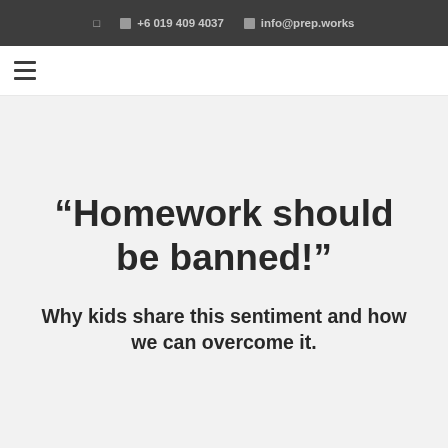+6 019 409 4037   info@prep.works
“Homework should be banned!”
Why kids share this sentiment and how we can overcome it.